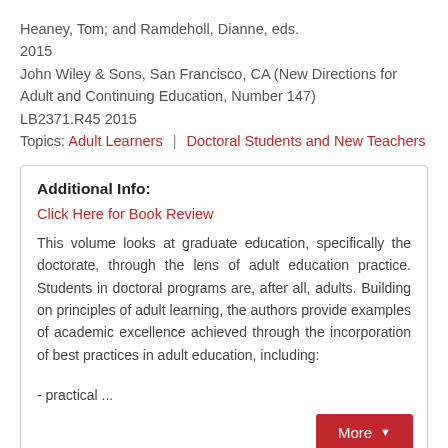Heaney, Tom; and Ramdeholl, Dianne, eds.
2015
John Wiley & Sons, San Francisco, CA (New Directions for Adult and Continuing Education, Number 147)
LB2371.R45 2015
Topics: Adult Learners | Doctoral Students and New Teachers
Additional Info:
Click Here for Book Review
This volume looks at graduate education, specifically the doctorate, through the lens of adult education practice. Students in doctoral programs are, after all, adults. Building on principles of adult learning, the authors provide examples of academic excellence achieved through the incorporation of best practices in adult education, including:

- practical ...